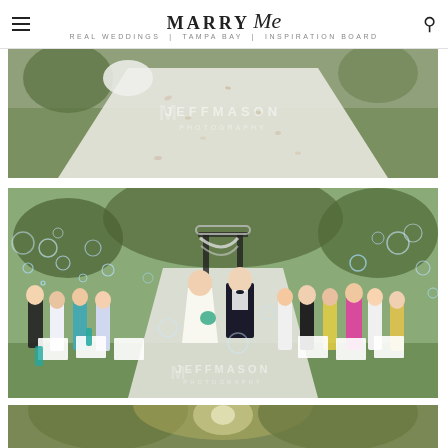MARRY Me Tampa Bay — navigation header with hamburger menu and search icon
[Figure (photo): Outdoor wedding aisle scene: white runner on grass with flower petals, photographed by Jeff Mason Photography]
[Figure (photo): Bride and groom walking down the aisle after ceremony, guests blowing bubbles, outdoor venue with decorative arch, Jeff Mason Photography watermark]
[Figure (photo): Partial view of another wedding photo — trees in sunlight]